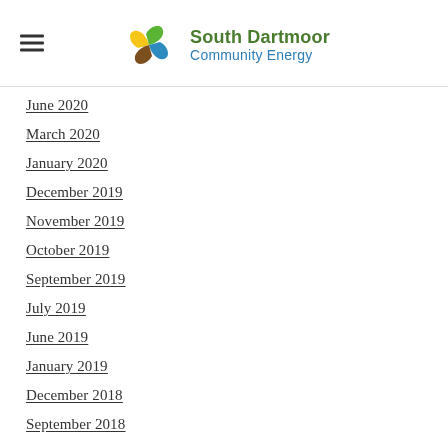South Dartmoor Community Energy
June 2020
March 2020
January 2020
December 2019
November 2019
October 2019
September 2019
July 2019
June 2019
January 2019
December 2018
September 2018
June 2018
March 2018